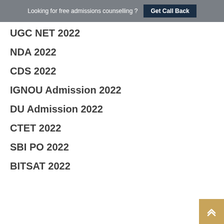Looking for free admissions counselling ? Get Call Back
UGC NET 2022
NDA 2022
CDS 2022
IGNOU Admission 2022
DU Admission 2022
CTET 2022
SBI PO 2022
BITSAT 2022